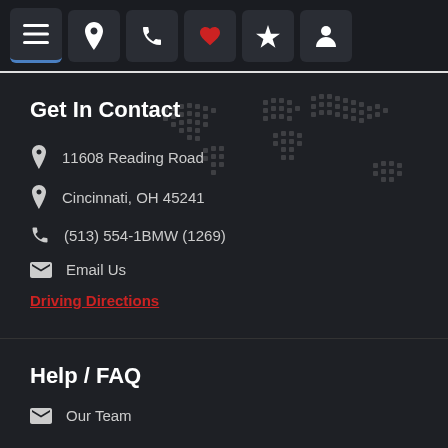Navigation bar with menu, location, phone, heart, star, and user icons
Get In Contact
11608 Reading Road
Cincinnati, OH 45241
(513) 554-1BMW (1269)
Email Us
Driving Directions
Help / FAQ
Our Team